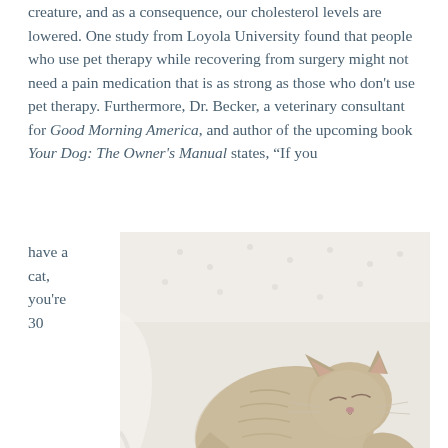creature, and as a consequence, our cholesterol levels are lowered. One study from Loyola University found that people who use pet therapy while recovering from surgery might not need a pain medication that is as strong as those who don't use pet therapy. Furthermore, Dr. Becker, a veterinary consultant for Good Morning America, and author of the upcoming book Your Dog: The Owner's Manual states, “If you have a cat, you’re 30
[Figure (photo): A fluffy light-colored kitten sleeping peacefully on white bedding/blanket]